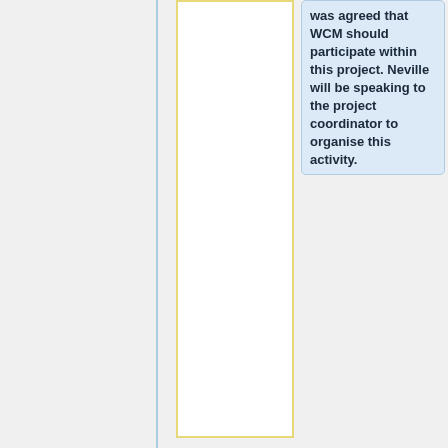was agreed that WCM should participate within this project. Neville will be speaking to the project coordinator to organise this activity.
'''Item 4: Accounts and Administration -''' A declaration clarifying a minor issue within the WCM statute was discussed. This declaration was signed by Tony